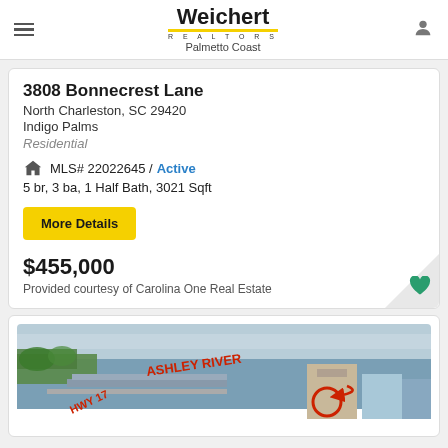Weichert REALTORS Palmetto Coast
3808 Bonnecrest Lane
North Charleston, SC 29420
Indigo Palms
Residential
MLS# 22022645 / Active
5 br, 3 ba, 1 Half Bath, 3021 Sqft
More Details
$455,000
Provided courtesy of Carolina One Real Estate
[Figure (photo): Aerial photo of Ashley River area showing HWY 17 bridge and surrounding development with text overlays reading ASHLEY RIVER and HWY 17]